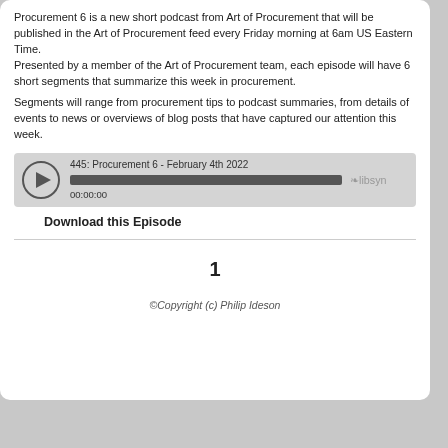Procurement 6 is a new short podcast from Art of Procurement that will be published in the Art of Procurement feed every Friday morning at 6am US Eastern Time.
Presented by a member of the Art of Procurement team, each episode will have 6 short segments that summarize this week in procurement.
Segments will range from procurement tips to podcast summaries, from details of events to news or overviews of blog posts that have captured our attention this week.
[Figure (other): Podcast audio player widget showing episode '445: Procurement 6 - February 4th 2022' with a play button, progress bar, timestamp 00:00:00, and Libsyn logo.]
Download this Episode
1
©Copyright (c) Philip Ideson